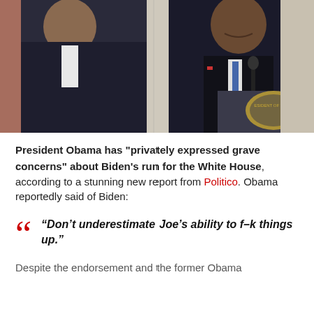[Figure (photo): Two men in dark suits at a podium, one laughing and covering his face, the other smiling at a microphone with a presidential seal visible]
President Obama has "privately expressed grave concerns" about Biden's run for the White House, according to a stunning new report from Politico. Obama reportedly said of Biden:
“Don’t underestimate Joe’s ability to f–k things up.”
Despite the endorsement and the former Obama